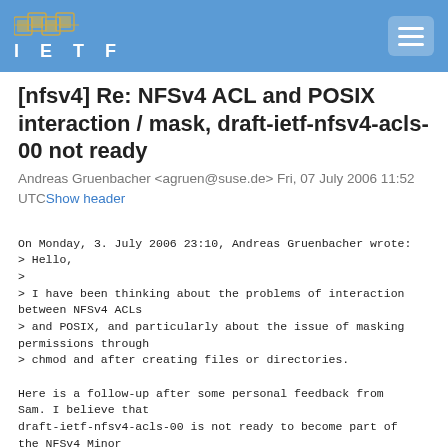IETF
[nfsv4] Re: NFSv4 ACL and POSIX interaction / mask, draft-ietf-nfsv4-acls-00 not ready
Andreas Gruenbacher <agruen@suse.de> Fri, 07 July 2006 11:52 UTC Show header
On Monday, 3. July 2006 23:10, Andreas Gruenbacher wrote:
> Hello,
>
> I have been thinking about the problems of interaction between NFSv4 ACLs
> and POSIX, and particularly about the issue of masking permissions through
> chmod and after creating files or directories.

Here is a follow-up after some personal feedback from Sam. I believe that
draft-ietf-nfsv4-acls-00 is not ready to become part of the NFSv4 Minor
Version 1 RFC: some assumptions are not correct from a POSIX point of view,
and the way how chmod and file create modes are applied to NFS ACLs is not...